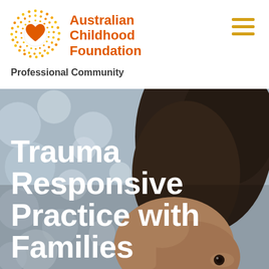[Figure (logo): Australian Childhood Foundation logo — circular dotted pattern in yellow/orange with a red heart in center, beside orange bold text 'Australian Childhood Foundation']
Professional Community
[Figure (photo): Close-up photo of a child with dark hair, bokeh bokeh background of grey and white circles, child's hand raised near face — hero banner image for 'Trauma Responsive Practice with Families']
Trauma Responsive Practice with Families